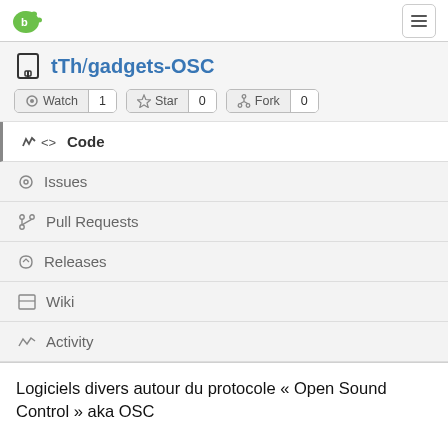tTh/gadgets-OSC — Gitea navigation
tTh/gadgets-OSC
Watch 1   Star 0   Fork 0
Code
Issues
Pull Requests
Releases
Wiki
Activity
Logiciels divers autour du protocole « Open Sound Control » aka OSC